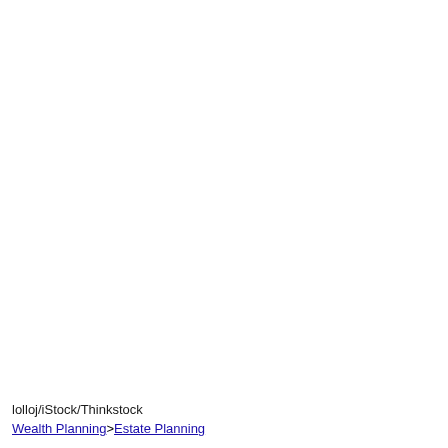lolloj/iStock/Thinkstock
Wealth Planning>Estate Planning